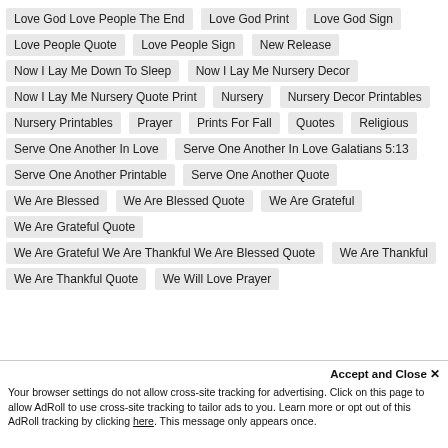Love God Love People The End
Love God Print
Love God Sign
Love People Quote
Love People Sign
New Release
Now I Lay Me Down To Sleep
Now I Lay Me Nursery Decor
Now I Lay Me Nursery Quote Print
Nursery
Nursery Decor Printables
Nursery Printables
Prayer
Prints For Fall
Quotes
Religious
Serve One Another In Love
Serve One Another In Love Galatians 5:13
Serve One Another Printable
Serve One Another Quote
We Are Blessed
We Are Blessed Quote
We Are Grateful
We Are Grateful Quote
We Are Grateful We Are Thankful We Are Blessed Quote
We Are Thankful
We Are Thankful Quote
We Will Love Prayer
Accept and Close ×
Your browser settings do not allow cross-site tracking for advertising. Click on this page to allow AdRoll to use cross-site tracking to tailor ads to you. Learn more or opt out of this AdRoll tracking by clicking here. This message only appears once.